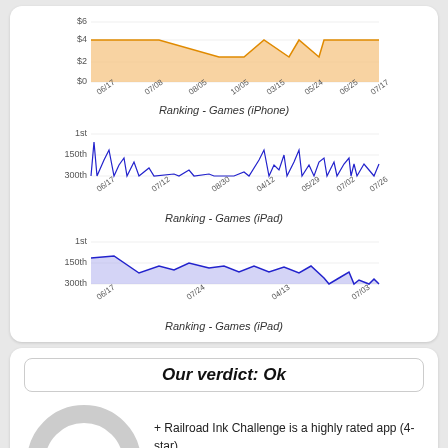[Figure (area-chart): Area chart showing price over time from 06/17 to 07/17 with y-axis labels $0, $2, $4, $6. Orange filled area mostly at $4 level.]
Ranking - Games (iPhone)
[Figure (area-chart): Blue line/area chart showing ranking from 06/17 to 07/26, y-axis: 1st, 150th, 300th.]
Ranking - Games (iPad)
[Figure (area-chart): Blue line/area chart showing ranking from 06/17 to 07/03, y-axis: 1st, 150th, 300th.]
Ranking - Games (iPad)
Our verdict: Ok
+ Railroad Ink Challenge is a highly rated app (4-star). + Railroad Ink Challenge is currently ranked #409 in paid Games apps for iPhone.